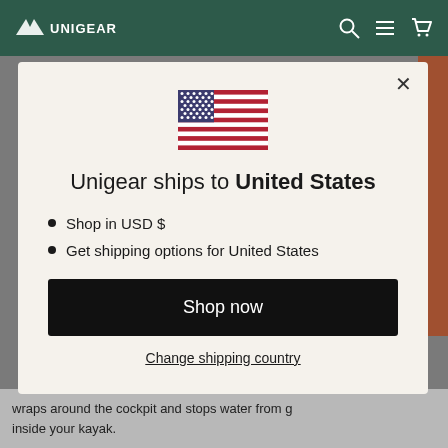UNIGEAR
[Figure (screenshot): Modal dialog on Unigear e-commerce website showing US flag, shipping information for United States, Shop now button, and Change shipping country link]
Unigear ships to United States
Shop in USD $
Get shipping options for United States
Shop now
Change shipping country
wraps around the cockpit and stops water from g inside your kayak.